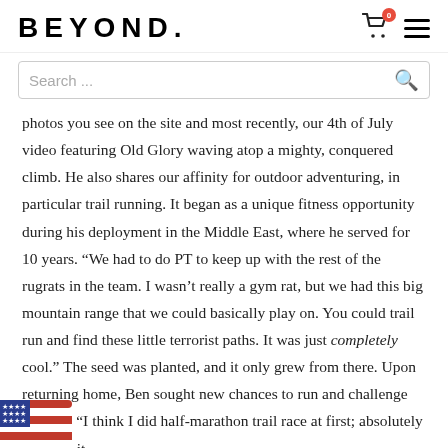BEYOND.
Search ...
photos you see on the site and most recently, our 4th of July video featuring Old Glory waving atop a mighty, conquered climb. He also shares our affinity for outdoor adventuring, in particular trail running. It began as a unique fitness opportunity during his deployment in the Middle East, where he served for 10 years. “We had to do PT to keep up with the rest of the rugrats in the team. I wasn’t really a gym rat, but we had this big mountain range that we could basically play on. You could trail run and find these little terrorist paths. It was just completely cool.” The seed was planted, and it only grew from there. Upon returning home, Ben sought new chances to run and challenge himself. “I think I did half-marathon trail race at first; absolutely loved it, it